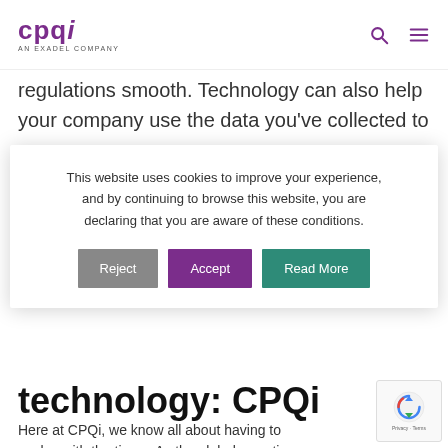cpqi AN EXADEL COMPANY
regulations smooth. Technology can also help your company use the data you've collected to
This website uses cookies to improve your experience, and by continuing to browse this website, you are declaring that you are aware of these conditions.
technology: CPQi
Here at CPQi, we know all about having to evolve with the times. As the global narrative